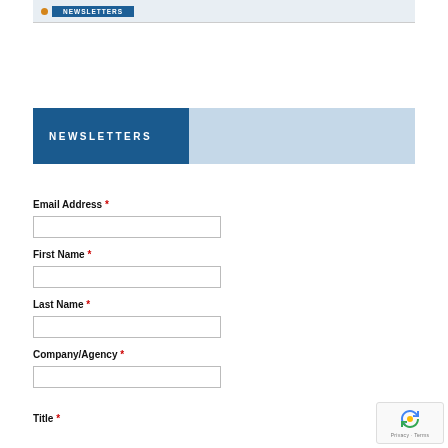[Figure (screenshot): Top gray bar with blue button partially visible at top of page]
NEWSLETTERS
Email Address *
First Name *
Last Name *
Company/Agency *
Title *